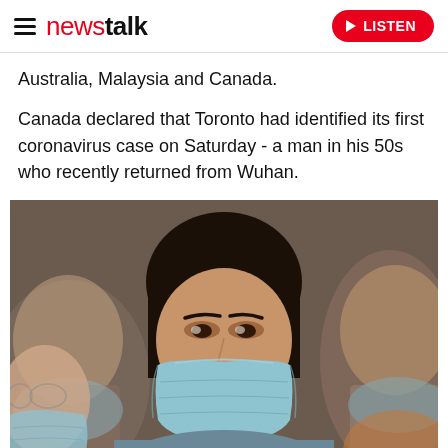newstalk | LISTEN
Australia, Malaysia and Canada.
Canada declared that Toronto had identified its first coronavirus case on Saturday - a man in his 50s who recently returned from Wuhan.
[Figure (photo): People wearing blue surgical face masks, photographed in a crowd setting. The central subject is a woman wearing a light blue surgical mask, with others visible in the foreground and background also wearing masks.]